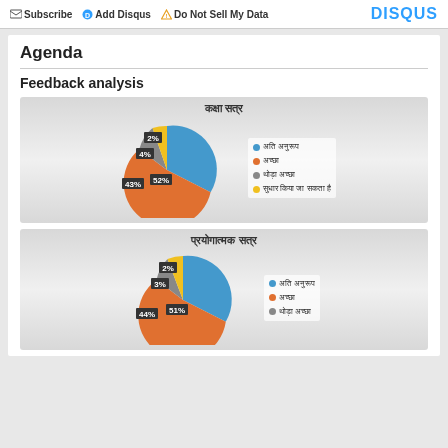Subscribe  Add Disqus  Do Not Sell My Data   DISQUS
Agenda
Feedback analysis
[Figure (pie-chart): कक्षा सत्र]
[Figure (pie-chart): प्रयोगात्मक सत्र]